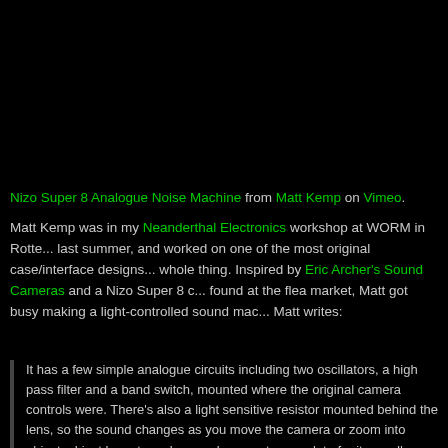[Figure (other): Black top area representing a video embed (Vimeo player, dark/black background)]
Nizo Super 8 Analogue Noise Machine from Matt Kemp on Vimeo.
Matt Kemp was in my Neanderthal Electronics workshop at WORM in Rotte... last summer, and worked on one of the most original case/interface designs... whole thing. Inspired by Eric Archer's Sound Cameras and a Nizo Super 8 c... found at the flea market, Matt got busy making a light-controlled sound mac... Matt writes:
It has a few simple analogue circuits including two oscillators, a high pass filter and a band switch, mounted where the original camera controls were. There's also a light sensitive resistor mounted behind the lens, so the sound changes as you move the camera or zoom into objects. I just have to make a replacement nameplate for it now, I'm thinking Noizo 801..